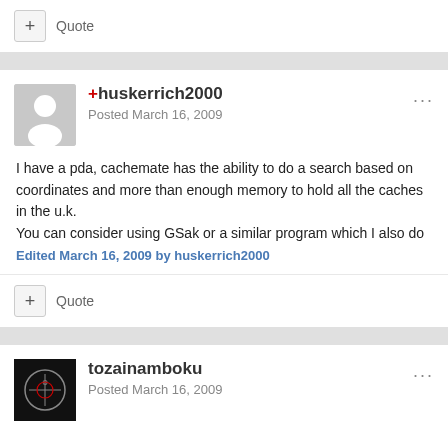+ Quote
+huskerrich2000
Posted March 16, 2009
I have a pda, cachemate has the ability to do a search based on coordinates and more than enough memory to hold all the caches in the u.k.
You can consider using GSak or a similar program which I also do
Edited March 16, 2009 by huskerrich2000
+ Quote
tozainamboku
Posted March 16, 2009